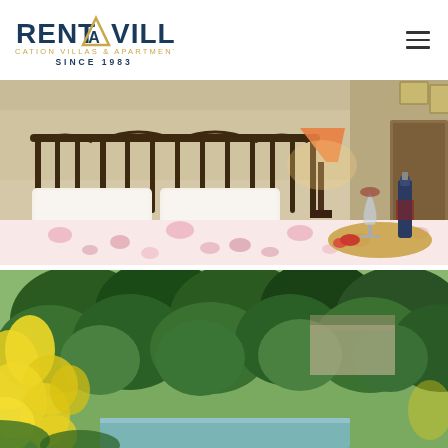[Figure (logo): RentAVilla logo with triangle A, subtitle VACATION VILLAS & APARTMENTS SINCE 1983]
[Figure (photo): Bedroom interior with ornate iron headboard, white and pink floral bedspread, wine bottle and glass on a tray, warm lamp light]
[Figure (photo): Outdoor garden and pool area with lush green trees and yellow flowering plants in foreground]